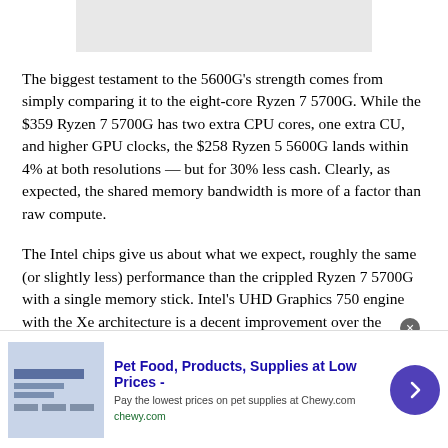[Figure (other): Gray image placeholder at top of page]
The biggest testament to the 5600G's strength comes from simply comparing it to the eight-core Ryzen 7 5700G. While the $359 Ryzen 7 5700G has two extra CPU cores, one extra CU, and higher GPU clocks, the $258 Ryzen 5 5600G lands within 4% at both resolutions — but for 30% less cash. Clearly, as expected, the shared memory bandwidth is more of a factor than raw compute.
The Intel chips give us about what we expect, roughly the same (or slightly less) performance than the crippled Ryzen 7 5700G with a single memory stick. Intel's UHD Graphics 750 engine with the Xe architecture is a decent improvement over the
[Figure (other): Advertisement banner: Pet Food, Products, Supplies at Low Prices - chewy.com]